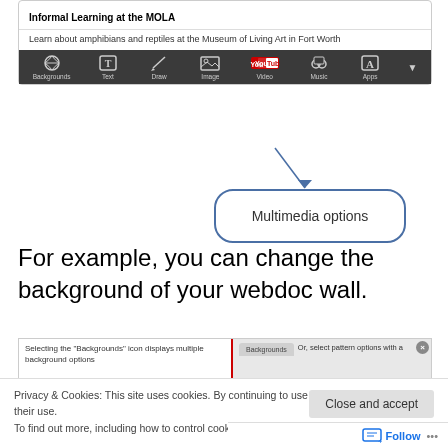[Figure (screenshot): Screenshot of a webdoc interface showing a card titled 'Informal Learning at the MOLA' with subtitle text and a toolbar with icons: Backgrounds, Text, Draw, Image, Video, Music, Apps]
Multimedia options
For example, you can change the background of your webdoc wall.
[Figure (screenshot): Partial screenshot showing background selection interface with 'Selecting the Backgrounds icon displays multiple background options' and a Backgrounds tab and pattern options panel]
Privacy & Cookies: This site uses cookies. By continuing to use this website, you agree to their use.
To find out more, including how to control cookies, see here: Cookie Policy
Close and accept